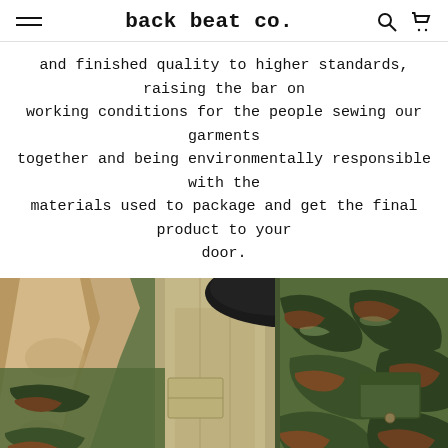back beat co.
and finished quality to higher standards, raising the bar on working conditions for the people sewing our garments together and being environmentally responsible with the materials used to package and get the final product to your door.
[Figure (photo): Close-up photo of a person wearing a tiger-stripe camouflage jacket and khaki pants, posed near sandy/rocky terrain with blue sky visible in the background.]